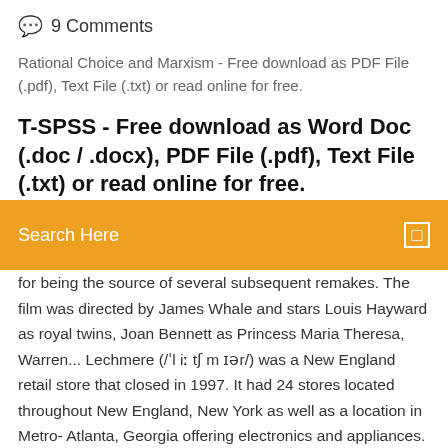9 Comments
Rational Choice and Marxism - Free download as PDF File (.pdf), Text File (.txt) or read online for free.
T-SPSS - Free download as Word Doc (.doc / .docx), PDF File (.pdf), Text File (.txt) or read online for free.
Search Here
for being the source of several subsequent remakes. The film was directed by James Whale and stars Louis Hayward as royal twins, Joan Bennett as Princess Maria Theresa, Warren... Lechmere (/ˈl iː tʃ m ɪər/) was a New England retail store that closed in 1997. It had 24 stores located throughout New England, New York as well as a location in Metro- Atlanta, Georgia offering electronics and appliances. He adopted his alias when arrested on charges of conspiracy by FBI agents in 1957. krim, - Free download as PDF File (.pdf), Text File (.txt) or read online for free. oK Furr (1) - Free download as PDF File